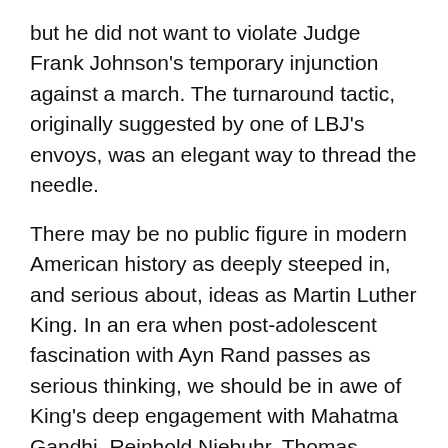but he did not want to violate Judge Frank Johnson's temporary injunction against a march. The turnaround tactic, originally suggested by one of LBJ's envoys, was an elegant way to thread the needle.
There may be no public figure in modern American history as deeply steeped in, and serious about, ideas as Martin Luther King. In an era when post-adolescent fascination with Ayn Rand passes as serious thinking, we should be in awe of King's deep engagement with Mahatma Gandhi, Reinhold Niebuhr, Thomas Aquinas and Martin Buber. King challenged us to think. That's a difficult attribute to capture in a movie. Selma tries, but doesn't succeed.
***
Selma may have missed the mark, but that doesn't stop us from looking back critically on the events that took place...